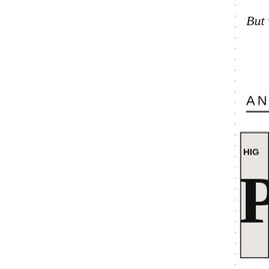But why?
AND N
[Figure (illustration): Partially visible book or pamphlet cover with bold text 'HIG' at top and a large decorative serif letter 'P' below, rendered in black and white with grainy texture.]